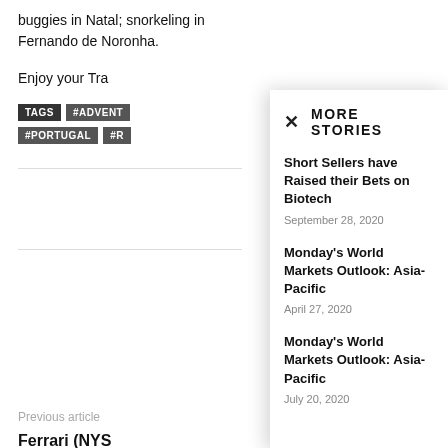buggies in Natal; snorkeling in Fernando de Noronha.
Enjoy your Tra
TAGS #ADVENT #PORTUGAL #R
Previous article
Ferrari (NYS Watch How t in Hybrid SF90 Stradale Is Made (Video)
MORE STORIES
Short Sellers have Raised their Bets on Biotech
September 28, 2020
Monday's World Markets Outlook: Asia-Pacific
April 27, 2020
Monday's World Markets Outlook: Asia-Pacific
July 20, 2020